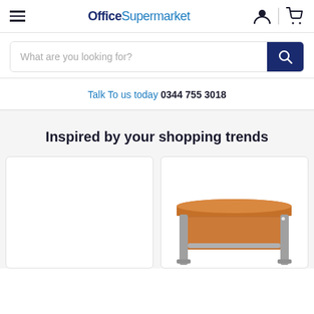OfficeSupermarket
What are you looking for?
Talk To us today 0344 755 3018
Inspired by your shopping trends
[Figure (photo): Empty white product card]
[Figure (photo): Wooden office desk with silver metal legs]